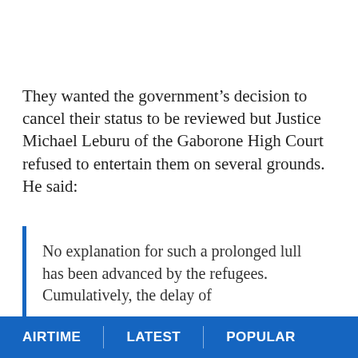They wanted the government's decision to cancel their status to be reviewed but Justice Michael Leburu of the Gaborone High Court refused to entertain them on several grounds. He said:
No explanation for such a prolonged lull has been advanced by the refugees. Cumulatively, the delay of
AIRTIME | LATEST | POPULAR